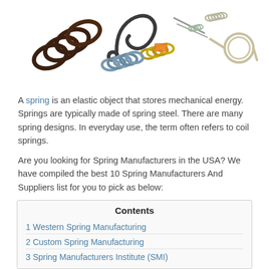[Figure (photo): A collection of various spring types including coil springs, extension springs, torsion springs, and flat springs arranged on a white background]
A spring is an elastic object that stores mechanical energy. Springs are typically made of spring steel. There are many spring designs. In everyday use, the term often refers to coil springs.
Are you looking for Spring Manufacturers in the USA? We have compiled the best 10 Spring Manufacturers And Suppliers list for you to pick as below:
| Contents |
| --- |
| 1 Western Spring Manufacturing |
| 2 Custom Spring Manufacturing |
| 3 Spring Manufacturers Institute (SMI) |